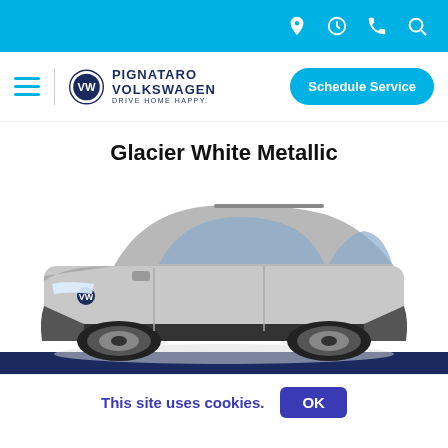Navigation icons: location, clock, phone, search
[Figure (logo): Pignataro Volkswagen logo with VW circle emblem and text 'PIGNATARO VOLKSWAGEN DRIVE HOME HAPPY.']
Schedule Service
Glacier White Metallic
[Figure (photo): Silver/white Volkswagen ID.4 electric SUV shown in 3/4 front view on white background]
This site uses cookies. OK